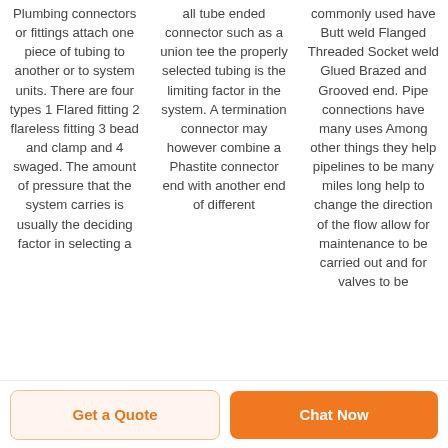Plumbing connectors or fittings attach one piece of tubing to another or to system units. There are four types 1 Flared fitting 2 flareless fitting 3 bead and clamp and 4 swaged. The amount of pressure that the system carries is usually the deciding factor in selecting a
all tube ended connector such as a union tee the properly selected tubing is the limiting factor in the system. A termination connector may however combine a Phastite connector end with another end of different
commonly used have Butt weld Flanged Threaded Socket weld Glued Brazed and Grooved end. Pipe connections have many uses Among other things they help pipelines to be many miles long help to change the direction of the flow allow for maintenance to be carried out and for valves to be
Get a Quote
Chat Now